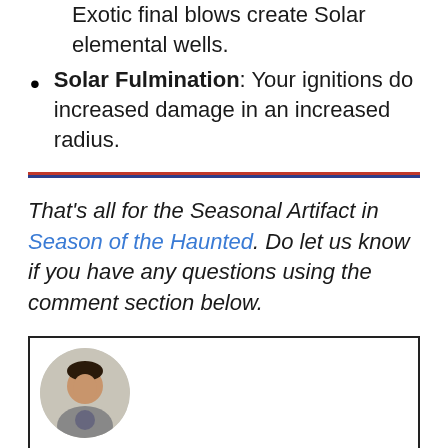Exotic final blows create Solar elemental wells.
Solar Fulmination: Your ignitions do increased damage in an increased radius.
That’s all for the Seasonal Artifact in Season of the Haunted. Do let us know if you have any questions using the comment section below.
[Figure (photo): Author profile photo of a young man in a grey t-shirt, shown inside a circular crop, placed in an author box with a black border.]